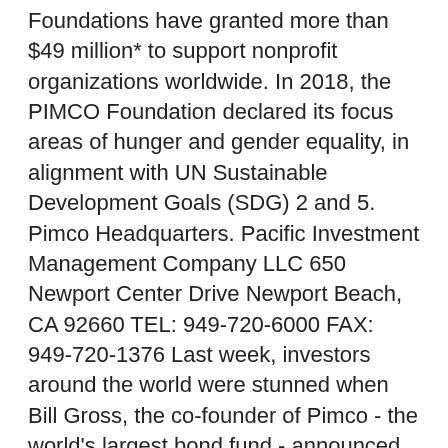Since established in 2000, the three global Pimco Foundations have granted more than $49 million* to support nonprofit organizations worldwide. In 2018, the PIMCO Foundation declared its focus areas of hunger and gender equality, in alignment with UN Sustainable Development Goals (SDG) 2 and 5. Pimco Headquarters. Pacific Investment Management Company LLC 650 Newport Center Drive Newport Beach, CA 92660 TEL: 949-720-6000 FAX: 949-720-1376 Last week, investors around the world were stunned when Bill Gross, the co-founder of Pimco - the world's largest bond fund - announced his departure from the firm. Pimco Founder Gambling defined in this text (hereinafter referred to as “Terms and Conditions”) regulate the usage of the Pimco Founder Gambling games provided through www.casumo.com, as well as other URLs as may be updated from time to time.